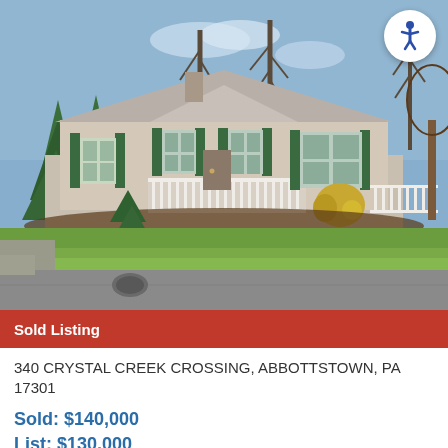[Figure (photo): Exterior photo of a single-story manufactured home with beige siding, green shutters, white porch railings, front landscaping with evergreen shrubs and a yellow bush, and a grassy front lawn. Blue sky with bare trees in the background. Accessibility icon button in top-right corner. Gray paved road in the foreground.]
Sold Listing
340 CRYSTAL CREEK CROSSING, ABBOTTSTOWN, PA 17301
Sold: $140,000
List: $130,000